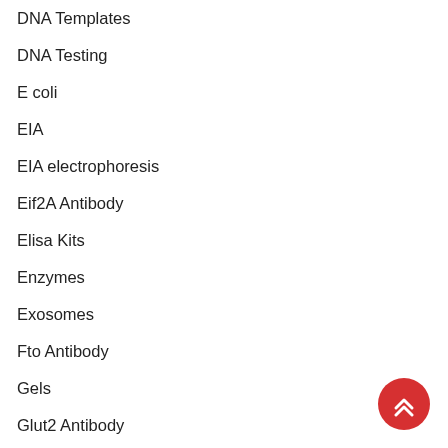DNA Templates
DNA Testing
E coli
EIA
EIA electrophoresis
Eif2A Antibody
Elisa Kits
Enzymes
Exosomes
Fto Antibody
Gels
Glut2 Antibody
Gsk3 Alpha
[Figure (other): Red circular back-to-top button with double chevron up arrow icon]